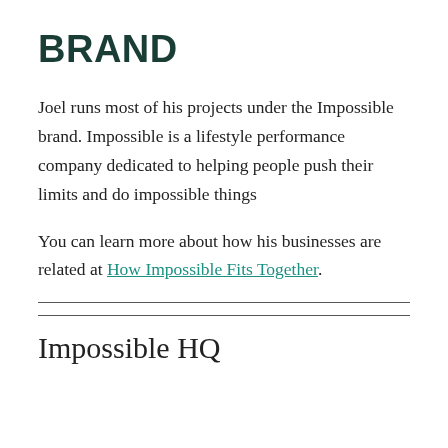BRAND
Joel runs most of his projects under the Impossible brand. Impossible is a lifestyle performance company dedicated to helping people push their limits and do impossible things
You can learn more about how his businesses are related at How Impossible Fits Together.
Impossible HQ